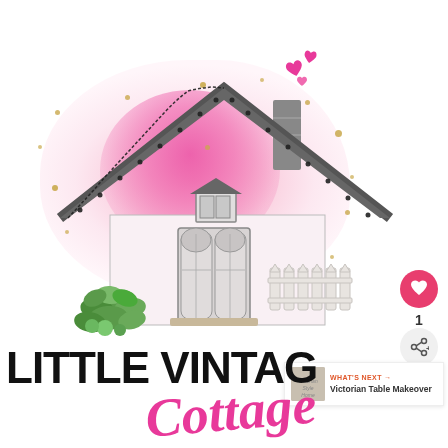[Figure (logo): Little Vintage Cottage logo: a whimsical watercolor illustration of a cottage with a dark gray triangular roof with lace trim, pink watercolor blob background forming a heart shape, arched double doors, small window above, green succulents on the left, white picket fence on the right, pink floating hearts near the chimney, gold glitter dots scattered around.]
LITTLE VINTAGE Cottage